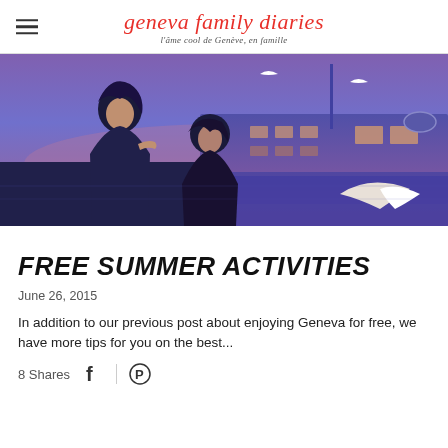geneva family diaries — l'âme cool de Genève, en famille
[Figure (illustration): Illustrated/animated artwork showing two women on a dock or waterfront at dusk/twilight with purple-blue sky, a building with windows in background, seagulls flying, and a large white bird in the foreground.]
FREE SUMMER ACTIVITIES
June 26, 2015
In addition to our previous post about enjoying Geneva for free, we have more tips for you on the best...
8 Shares